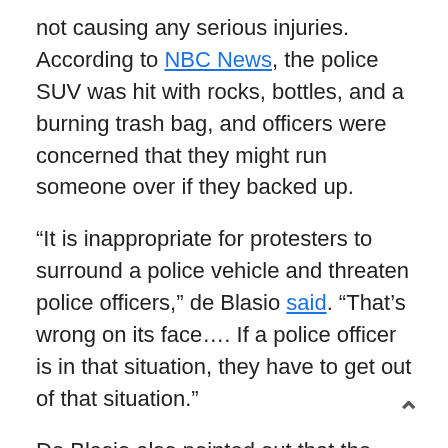not causing any serious injuries. According to NBC News, the police SUV was hit with rocks, bottles, and a burning trash bag, and officers were concerned that they might run someone over if they backed up.
“It is inappropriate for protesters to surround a police vehicle and threaten police officers,” de Blasio said. “That’s wrong on its face…. If a police officer is in that situation, they have to get out of that situation.”
De Blasio also pointed out that the cops “didn’t start the situation,” the group of people converging on the police car did.